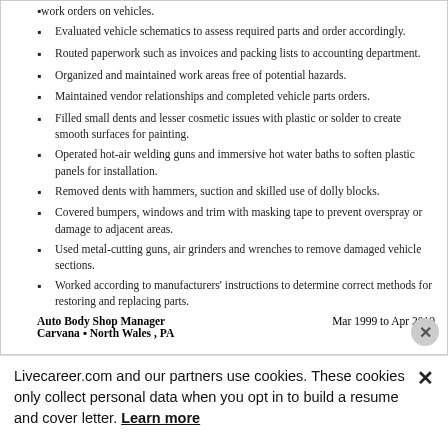work orders on vehicles.
Evaluated vehicle schematics to assess required parts and order accordingly.
Routed paperwork such as invoices and packing lists to accounting department.
Organized and maintained work areas free of potential hazards.
Maintained vendor relationships and completed vehicle parts orders.
Filled small dents and lesser cosmetic issues with plastic or solder to create smooth surfaces for painting.
Operated hot-air welding guns and immersive hot water baths to soften plastic panels for installation.
Removed dents with hammers, suction and skilled use of dolly blocks.
Covered bumpers, windows and trim with masking tape to prevent overspray or damage to adjacent areas.
Used metal-cutting guns, air grinders and wrenches to remove damaged vehicle sections.
Worked according to manufacturers' instructions to determine correct methods for restoring and replacing parts.
Auto Body Shop Manager   Mar 1999 to Apr 2019
Carvana ▪ North Wales , PA
Livecareer.com and our partners use cookies. These cookies only collect personal data when you opt in to build a resume and cover letter. Learn more